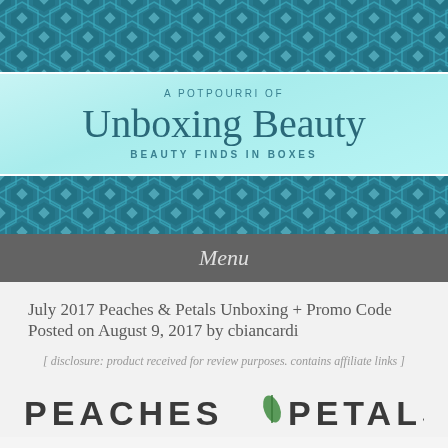[Figure (illustration): Teal hexagon geometric pattern banner at top of page]
A POTPOURRI OF
Unboxing Beauty
BEAUTY FINDS IN BOXES
[Figure (illustration): Teal hexagon geometric pattern banner below header]
Menu
July 2017 Peaches & Petals Unboxing + Promo Code
Posted on August 9, 2017 by cbiancardi
[ disclosure: product received for review purposes. contains affiliate links ]
[Figure (logo): Peaches & Petals logo text at bottom of page]